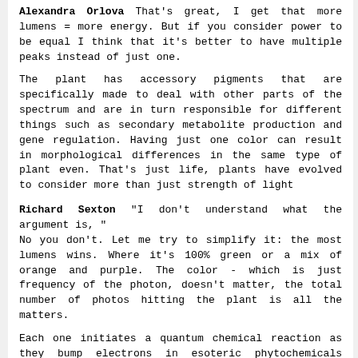Alexandra Orlova That's great, I get that more lumens = more energy. But if you consider power to be equal I think that it's better to have multiple peaks instead of just one.
The plant has accessory pigments that are specifically made to deal with other parts of the spectrum and are in turn responsible for different things such as secondary metabolite production and gene regulation. Having just one color can result in morphological differences in the same type of plant even. That's just life, plants have evolved to consider more than just strength of light
Richard Sexton "I don't understand what the argument is, "
No you don't. Let me try to simplify it: the most lumens wins. Where it's 100% green or a mix of orange and purple. The color - which is just frequency of the photon, doesn't matter, the total number of photos hitting the plant is all the matters.
Each one initiates a quantum chemical reaction as they bump electrons in esoteric phytochemicals around.
So, it can be all blue like mercury vapor or all red like HPS or a mix, or heck all UV and blacklight